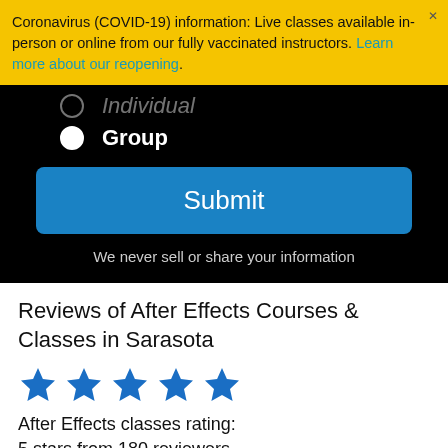Coronavirus (COVID-19) information: Live classes available in-person or online from our fully vaccinated instructors. Learn more about our reopening.
[Figure (screenshot): Dark UI form section showing radio options (Individual partially visible, Group selected) and a blue Submit button with privacy note]
Reviews of After Effects Courses & Classes in Sarasota
[Figure (other): Five blue star rating icons]
After Effects classes rating:
5 stars from 180 reviewers